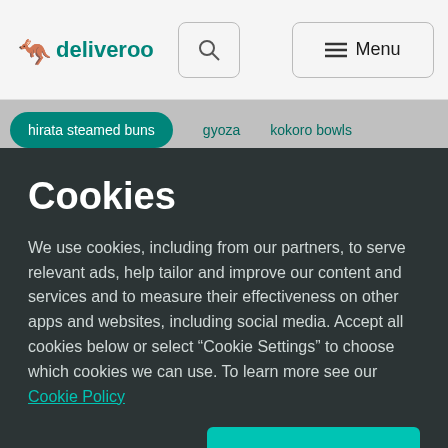deliveroo
hirata steamed buns   gyoza   kokoro bowls
Cookies
We use cookies, including from our partners, to serve relevant ads, help tailor and improve our content and services and to measure their effectiveness on other apps and websites, including social media. Accept all cookies below or select “Cookie Settings” to choose which cookies we can use. To learn more see our Cookie Policy
Cookie Settings
Accept All Cookies